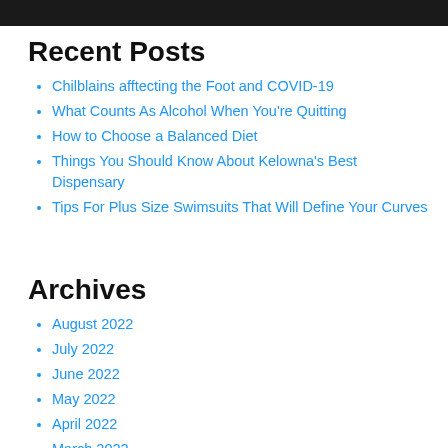[Figure (photo): Dark/black image strip at the top of the page]
Recent Posts
Chilblains afftecting the Foot and COVID-19
What Counts As Alcohol When You're Quitting
How to Choose a Balanced Diet
Things You Should Know About Kelowna's Best Dispensary
Tips For Plus Size Swimsuits That Will Define Your Curves
Archives
August 2022
July 2022
June 2022
May 2022
April 2022
March 2022